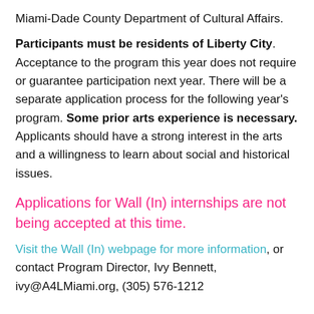Miami-Dade County Department of Cultural Affairs.
Participants must be residents of Liberty City. Acceptance to the program this year does not require or guarantee participation next year. There will be a separate application process for the following year's program. Some prior arts experience is necessary. Applicants should have a strong interest in the arts and a willingness to learn about social and historical issues.
Applications for Wall (In) internships are not being accepted at this time.
Visit the Wall (In) webpage for more information, or contact Program Director, Ivy Bennett, ivy@A4LMiami.org, (305) 576-1212